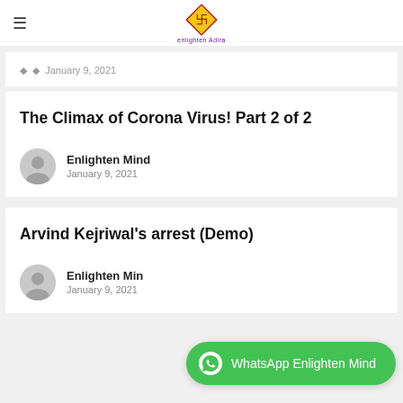Enlighten Adira (logo with hamburger menu)
January 9, 2021
The Climax of Corona Virus! Part 2 of 2
Enlighten Mind
January 9, 2021
Arvind Kejriwal's arrest (Demo)
Enlighten Mind
January 9, 2021
WhatsApp Enlighten Mind